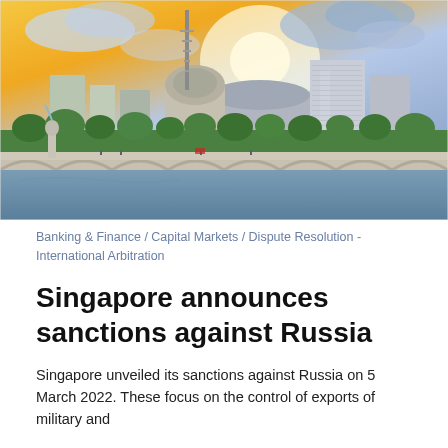[Figure (photo): Singapore city skyline at sunset showing buildings, a bridge over a river, green trees, and a dramatic cloudy sky. Merlion statue visible on the left.]
Banking & Finance / Capital Markets / Dispute Resolution - International Arbitration
Singapore announces sanctions against Russia
Singapore unveiled its sanctions against Russia on 5 March 2022. These focus on the control of exports of military and